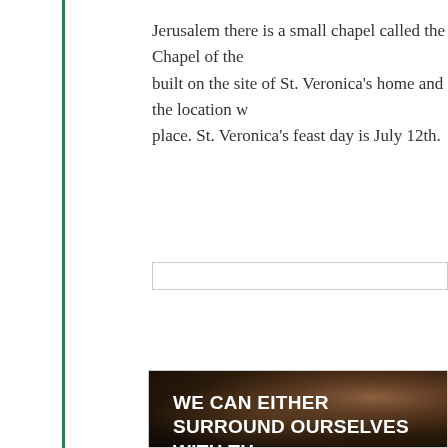Jerusalem there is a small chapel called the Chapel of the built on the site of St. Veronica's home and the location w place. St. Veronica's feast day is July 12th.
[Figure (photo): Dark background image of praying hands resting on a surface, overlaid with a quote in large bold white uppercase letters: 'WE CAN EITHER SURROUND OURSELVES WITH TH WHO WILL MAKE US COMFORTABLE, RUN AWAY, OR RUN STRAIGHT TOWARDS WHERE THE LORD' and attribution in italic white text: 'Dr. Andrew Minto']